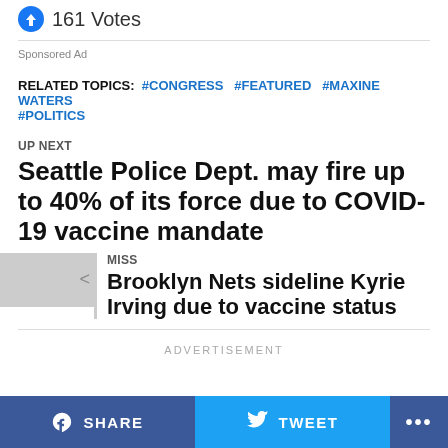161 Votes
Sponsored Ad
RELATED TOPICS: #CONGRESS #FEATURED #MAXINE WATERS #POLITICS
UP NEXT
Seattle Police Dept. may fire up to 40% of its force due to COVID-19 vaccine mandate
DON'T MISS
Brooklyn Nets sideline Kyrie Irving due to vaccine status
ADVERTISEMENT
SHARE   TWEET   ...